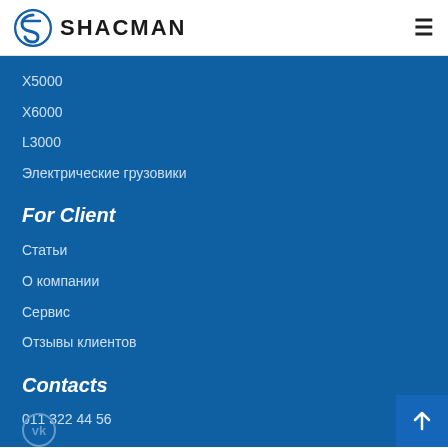[Figure (logo): SHACMAN logo with circular S emblem and text]
X5000
X6000
L3000
Электрические грузовики
For Client
Статьи
О компании
Сервис
Отзывы клиентов
Contacts
011 322 44 56